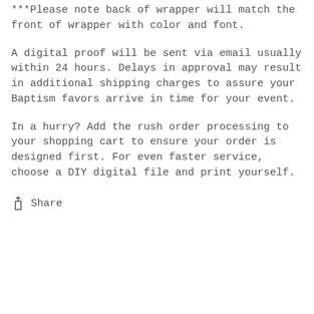***Please note back of wrapper will match the front of wrapper with color and font.
A digital proof will be sent via email usually within 24 hours. Delays in approval may result in additional shipping charges to assure your Baptism favors arrive in time for your event.
In a hurry? Add the rush order processing to your shopping cart to ensure your order is designed first. For even faster service, choose a DIY digital file and print yourself.
Share